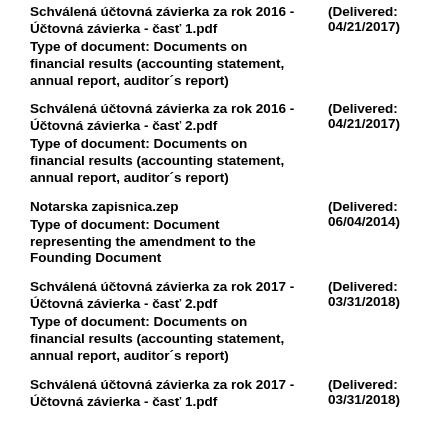Schválená účtovná závierka za rok 2016 - Účtovná závierka - časť 1.pdf (Delivered: 04/21/2017)
Type of document: Documents on financial results (accounting statement, annual report, auditor´s report)
Schválená účtovná závierka za rok 2016 - Účtovná závierka - časť 2.pdf (Delivered: 04/21/2017)
Type of document: Documents on financial results (accounting statement, annual report, auditor´s report)
Notarska zapisnica.zep (Delivered: 06/04/2014)
Type of document: Document representing the amendment to the Founding Document
Schválená účtovná závierka za rok 2017 - Účtovná závierka - časť 2.pdf (Delivered: 03/31/2018)
Type of document: Documents on financial results (accounting statement, annual report, auditor´s report)
Schválená účtovná závierka za rok 2017 - Účtovná závierka - časť 1.pdf (Delivered: 03/31/2018)